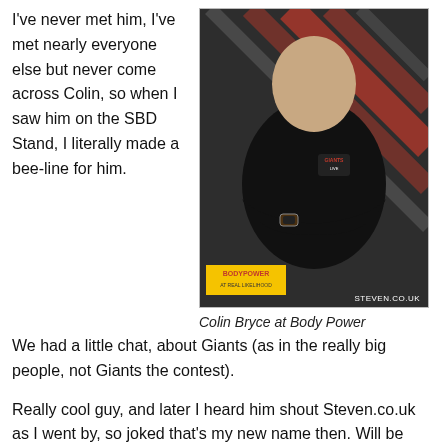I've never met him, I've met nearly everyone else but never come across Colin, so when I saw him on the SBD Stand, I literally made a bee-line for him. We had a little chat, about Giants (as in the really big people, not Giants the contest).
[Figure (photo): Photo of Colin Bryce at Body Power, a muscular man in a black polo shirt with arms crossed, standing in front of a red and black striped background. A BodyPower logo badge is visible in the lower left and STEVEN.CO.UK watermark in the lower right.]
Colin Bryce at Body Power
Really cool guy, and later I heard him shout Steven.co.uk as I went by, so joked that's my new name then. Will be looking forward to seeing Colin on the 15th September for the Manchester Finals of Giants Live which could be Eddie Halls final outing